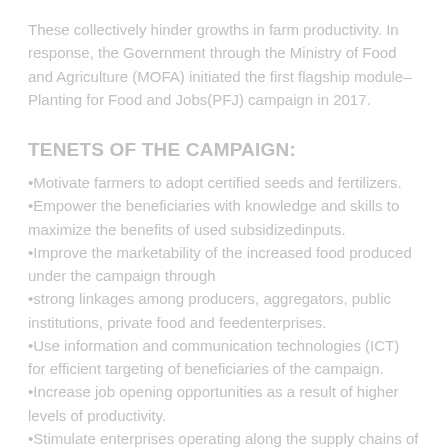These collectively hinder growths in farm productivity. In response, the Government through the Ministry of Food and Agriculture (MOFA) initiated the first flagship module– Planting for Food and Jobs(PFJ) campaign in 2017.
TENETS OF THE CAMPAIGN:
•Motivate farmers to adopt certified seeds and fertilizers.
•Empower the beneficiaries with knowledge and skills to maximize the benefits of used subsidizedinputs.
•Improve the marketability of the increased food produced under the campaign through
•strong linkages among producers, aggregators, public institutions, private food and feedenterprises.
•Use information and communication technologies (ICT) for efficient targeting of beneficiaries of the campaign.
•Increase job opening opportunities as a result of higher levels of productivity.
•Stimulate enterprises operating along the supply chains of